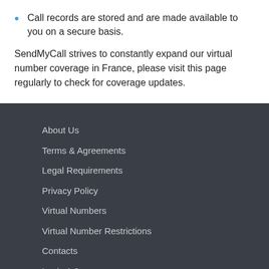Call records are stored and are made available to you on a secure basis.
SendMyCall strives to constantly expand our virtual number coverage in France, please visit this page regularly to check for coverage updates.
About Us
Terms & Agreements
Legal Requirements
Privacy Policy
Virtual Numbers
Virtual Number Restrictions
Contacts
Login 1.0